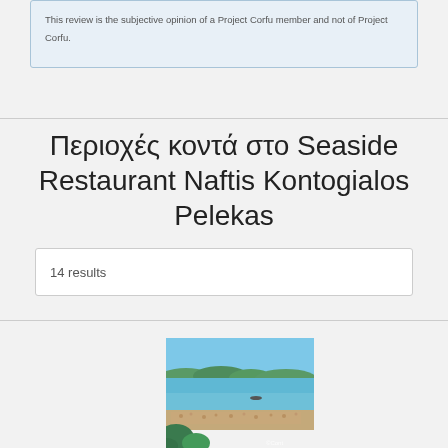This review is the subjective opinion of a Project Corfu member and not of Project Corfu.
Περιοχές κοντά στο Seaside Restaurant Naftis Kontogialos Pelekas
14 results
[Figure (photo): Aerial or elevated view of a coastal beach with turquoise sea, sandy beach with sunbathers, and green hillside vegetation. A small watermark is visible in the bottom right corner.]